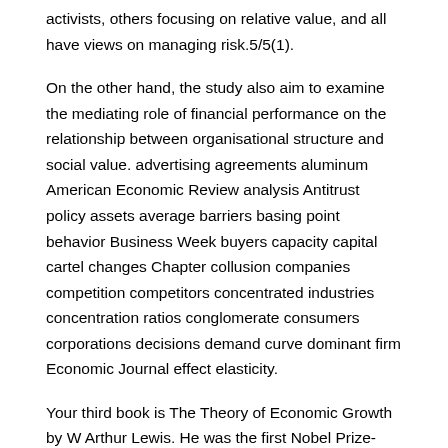activists, others focusing on relative value, and all have views on managing risk.5/5(1).
On the other hand, the study also aim to examine the mediating role of financial performance on the relationship between organisational structure and social value. advertising agreements aluminum American Economic Review analysis Antitrust policy assets average barriers basing point behavior Business Week buyers capacity capital cartel changes Chapter collusion companies competition competitors concentrated industries concentration ratios conglomerate consumers corporations decisions demand curve dominant firm Economic Journal effect elasticity.
Your third book is The Theory of Economic Growth by W Arthur Lewis. He was the first Nobel Prize-winner in the subject of development economics.
He was also very much rooted in classical economics of the political-economy tradition as well as the classical economist's concern with structural transformation of a developing economy. The contention that